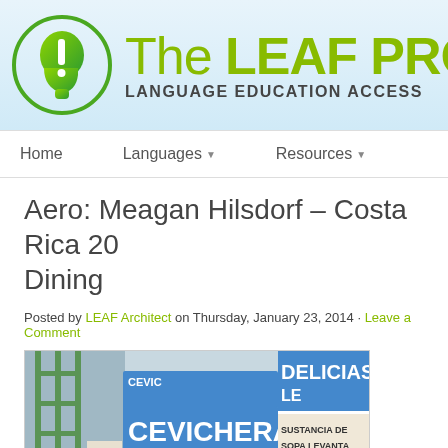[Figure (logo): The LEAF Project logo - green head silhouette with exclamation mark, site title 'The LEAF PRO' and subtitle 'LANGUAGE EDUCATION ACCESS']
Home   Languages ▼   Resources ▼
Aero: Meagan Hilsdorf – Costa Rica 20... Dining
Posted by LEAF Architect on Thursday, January 23, 2014 · Leave a Comment
[Figure (photo): Street food stall sign reading 'CEVICHERA Delicias del Mar' with additional text 'DELICIAS', 'LE', 'SUSTANCIA DE', 'SOPA LEVANTA', 'PASION DE LA', 'SOPA DE MAR', 'CEVICHE DE' on blue and white signage. Industrial/market setting with green metal structure visible on left.]